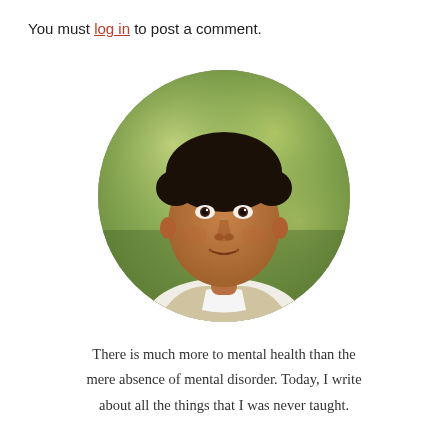You must log in to post a comment.
[Figure (photo): Circular portrait photo of a South Asian man with short dark hair, smiling slightly, wearing a white collared shirt and light jacket, with a blurred green outdoor background.]
There is much more to mental health than the mere absence of mental disorder. Today, I write about all the things that I was never taught.